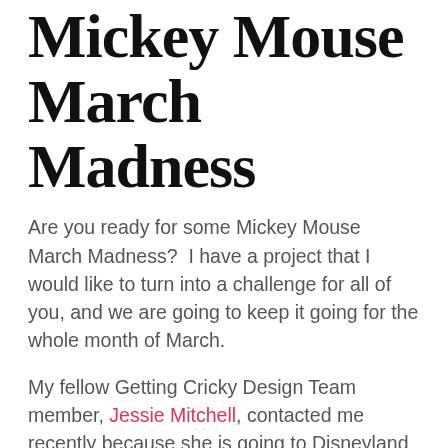Mickey Mouse March Madness
Are you ready for some Mickey Mouse March Madness?  I have a project that I would like to turn into a challenge for all of you, and we are going to keep it going for the whole month of March.
My fellow Getting Cricky Design Team member, Jessie Mitchell, contacted me recently because she is going to Disneyland soon (take me with you!) and she would like an autograph book and wanted me to make a few cuts for her. I told her that I had an even BETTER idea . . . what if all of us created just one